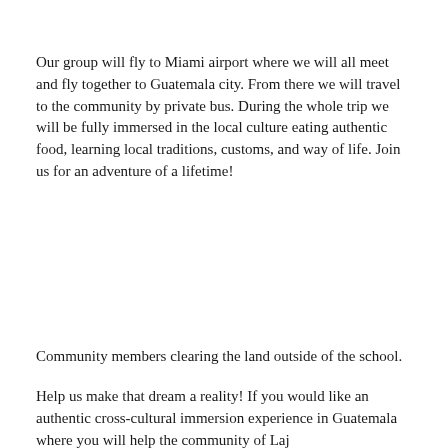Our group will fly to Miami airport where we will all meet and fly together to Guatemala city. From there we will travel to the community by private bus. During the whole trip we will be fully immersed in the local culture eating authentic food, learning local traditions, customs, and way of life. Join us for an adventure of a lifetime!
Community members clearing the land outside of the school.
Help us make that dream a reality! If you would like an authentic cross-cultural immersion experience in Guatemala where you will help the community of Laj